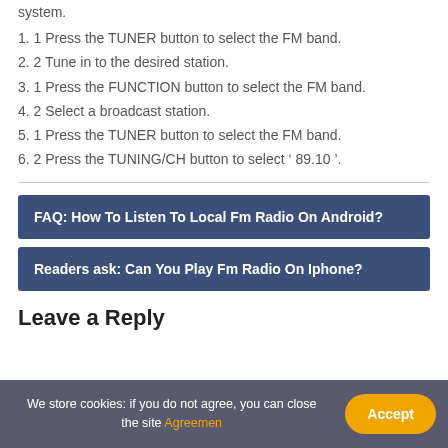system.
1. 1 Press the TUNER button to select the FM band.
2. 2 Tune in to the desired station.
3. 1 Press the FUNCTION button to select the FM band.
4. 2 Select a broadcast station.
5. 1 Press the TUNER button to select the FM band.
6. 2 Press the TUNING/CH button to select ‘ 89.10 ’.
FAQ: How To Listen To Local Fm Radio On Android?
Readers ask: Can You Play Fm Radio On Iphone?
Leave a Reply
We store cookies: if you do not agree, you can close the site Agreemen